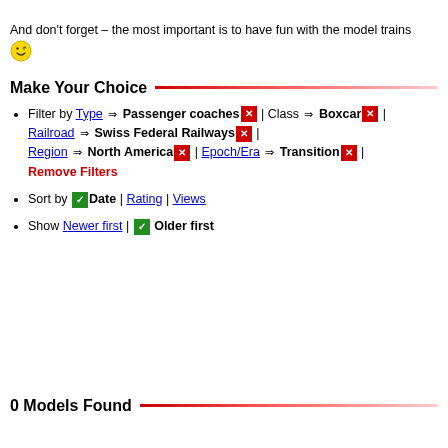And don't forget – the most important is to have fun with the model trains 😉
Make Your Choice
Filter by Type ➔ Passenger coaches ✕ | Class ➔ Boxcar ✕ | Railroad ➔ Swiss Federal Railways ✕ | Region ➔ North America ✕ | Epoch/Era ➔ Transition ✕ | Remove Filters
Sort by ✓ Date | Rating | Views
Show Newer first | ✓ Older first
0 Models Found